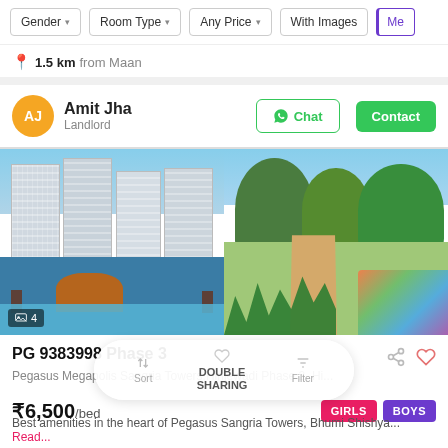Gender ▾  Room Type ▾  Any Price ▾  With Images  Me
1.5 km from Maan
Amit Jha
Landlord
[Figure (photo): Two photos side by side: left shows tall residential apartment towers with a pool area; right shows a park walkway with trees and a playground]
PG 9383998 Phase 3
Pegasus Megapolis Sangria Towers,Hinjewadi Phase 2, Hi...
₹6,500/bed
GIRLS  BOYS
Sort  DOUBLE SHARING  Filter
Best amenities in the heart of Pegasus Sangria Towers, Bhumi Shishya... Read...